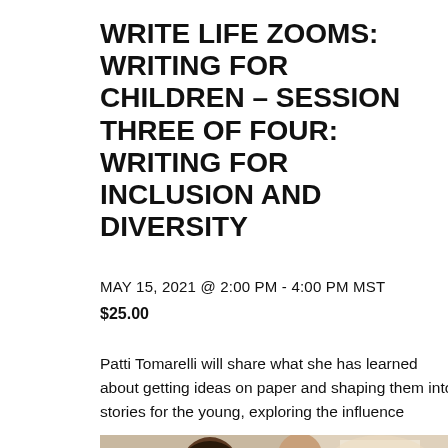WRITE LIFE ZOOMS: WRITING FOR CHILDREN – SESSION THREE OF FOUR: WRITING FOR INCLUSION AND DIVERSITY
MAY 15, 2021 @ 2:00 PM - 4:00 PM MST
$25.00
Patti Tomarelli will share what she has learned about getting ideas on paper and shaping them into stories for the young, exploring the influence that
[Figure (photo): Photo of children with an adult, appearing to be in a classroom or reading setting]